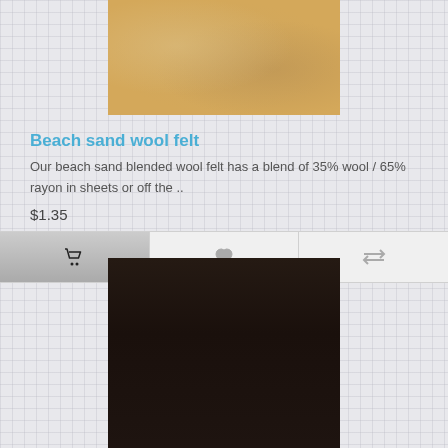[Figure (photo): Beach sand wool felt fabric texture - tan/golden sandy color]
Beach sand wool felt
Our beach sand blended wool felt has a blend of 35% wool / 65% rayon in sheets or off the ..
$1.35
[Figure (photo): Dark brown/black wool felt fabric texture]